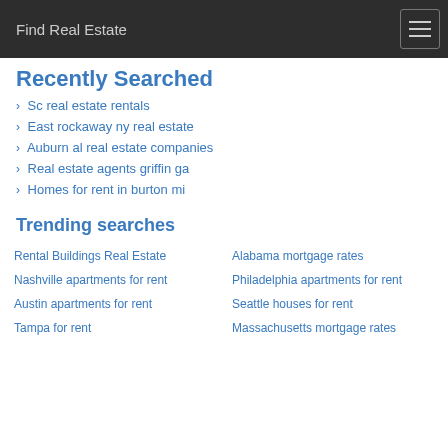Find Real Estate
Recently Searched
Sc real estate rentals
East rockaway ny real estate
Auburn al real estate companies
Real estate agents griffin ga
Homes for rent in burton mi
Trending searches
Rental Buildings Real Estate
Alabama mortgage rates
Nashville apartments for rent
Philadelphia apartments for rent
Austin apartments for rent
Seattle houses for rent
Tampa for rent
Massachusetts mortgage rates